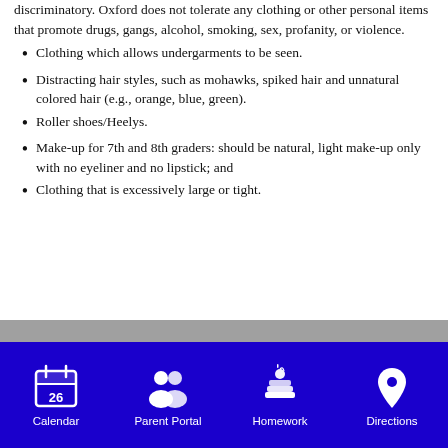discriminatory. Oxford does not tolerate any clothing or other personal items that promote drugs, gangs, alcohol, smoking, sex, profanity, or violence.
Clothing which allows undergarments to be seen.
Distracting hair styles, such as mohawks, spiked hair and unnatural colored hair (e.g., orange, blue, green).
Roller shoes/Heelys.
Make-up for 7th and 8th graders: should be natural, light make-up only with no eyeliner and no lipstick; and
Clothing that is excessively large or tight.
[Figure (infographic): Navigation footer bar with blue background containing four icons with labels: Calendar (calendar icon with 26), Parent Portal (people icon), Homework (books icon), Directions (map pin icon)]